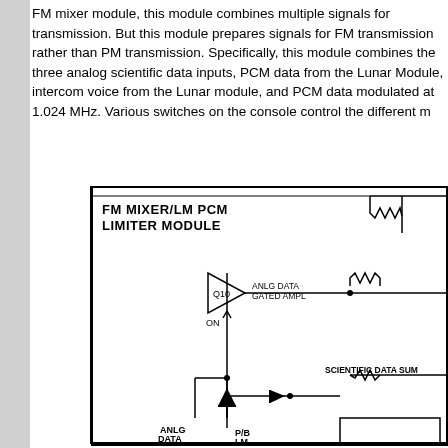FM mixer module, this module combines multiple signals for transmission. But this module prepares signals for FM transmission rather than PM transmission. Specifically, this module combines the three analog scientific data inputs, PCM data from the Lunar Module, intercom voice from the Lunar module, and PCM data modulated at 1.024 MHz. Various switches on the console control the different m...
[Figure (schematic): FM MIXER/LM PCM LIMITER MODULE schematic diagram showing Q10 transistor amplifier block labeled 'ANLG DATA GATED AMPL', with ON input from below, a diode component, ANLG DATA and P/B LM labels at bottom, and SCIENTIFIC DATA SUM label at right with resistor symbols]